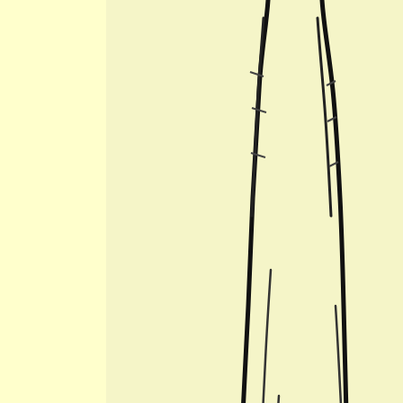[Figure (illustration): Partial sketch drawing on pale yellow background showing black hand-drawn lines forming what appears to be a tall figure or turtle form, visible on right side of upper panel]
turtle form. New Devan Shell family members.
Last edited by luke11685; Apr 8, 2019 at 01:04 AM.
[Figure (photo): Small avatar image with dark reddish-purple tones for user DennisKainz]
DennisKainz May 30, 2019, 08:52 AM
Keep that thing away from me! XD